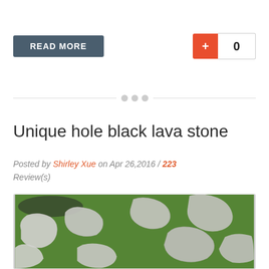READ MORE
+ 0
Unique hole black lava stone
Posted by Shirley Xue on Apr 26,2016 / 223 Review(s)
[Figure (photo): Irregular shaped stepping stones laid on green grass lawn, viewed from above at an angle. Stones are grey/white colored with natural organic shapes.]